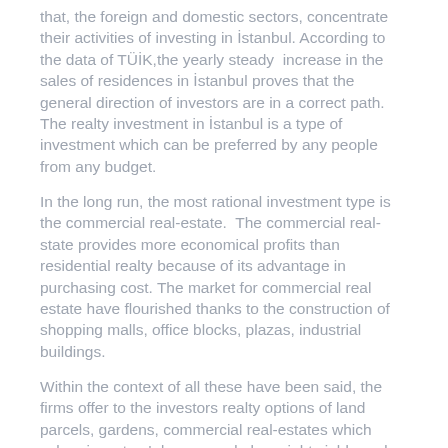that, the foreign and domestic sectors, concentrate their activities of investing in İstanbul. According to the data of TÜİK,the yearly steady  increase in the sales of residences in İstanbul proves that the general direction of investors are in a correct path. The realty investment in İstanbul is a type of investment which can be preferred by any people from any budget.
In the long run, the most rational investment type is the commercial real-estate.  The commercial real-state provides more economical profits than residential realty because of its advantage in purchasing cost. The market for commercial real estate have flourished thanks to the construction of shopping malls, office blocks, plazas, industrial buildings.
Within the context of all these have been said, the firms offer to the investors realty options of land parcels, gardens, commercial real-estates which colour investors' dreams and also might yield good profits.
Via internet you might examine and evaluate the finished projects of the company. Also , you may contact the firm via telephone or by coming to the firm center. The company which serves its customers with its options of flat for sale, land parcel for sale, villa on sale, also offers attractive options outside İstanbul.